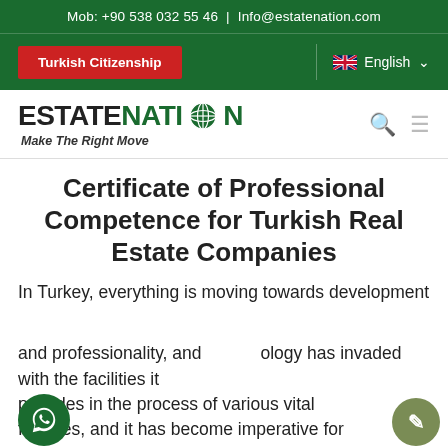Mob: +90 538 032 55 46 | Info@estatenation.com
[Figure (screenshot): Navigation bar with Turkish Citizenship button and English language selector on green background]
[Figure (logo): EstateNation logo with globe icon and tagline Make The Right Move, with search and menu icons]
Certificate of Professional Competence for Turkish Real Estate Companies
In Turkey, everything is moving towards development and professionality, and technology has invaded with the facilities it provides in the process of various vital facilities, and it has become imperative for